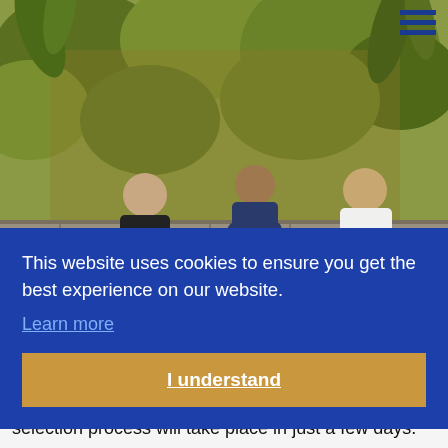[Figure (photo): Three young men in athletic/dark clothing bending forward over a stone wall, with a lush green hillside vegetation in the background. Outdoor setting, appears to be a training or selection exercise.]
This website uses cookies to ensure you get the best experience on our website.
Learn more
I understand
selection process will take place in just a few days.